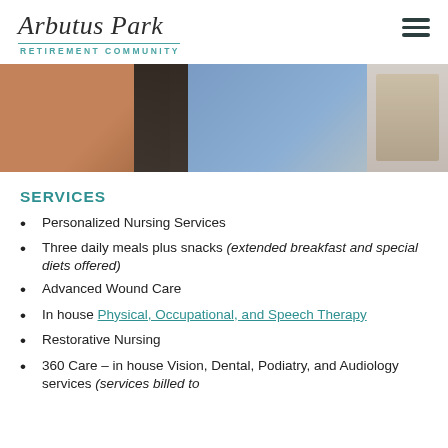Arbutus Park RETIREMENT COMMUNITY
[Figure (photo): Photo of two people, one in a black top and one in a blue shirt, in what appears to be a care facility room with wooden furniture.]
SERVICES
Personalized Nursing Services
Three daily meals plus snacks (extended breakfast and special diets offered)
Advanced Wound Care
In house Physical, Occupational, and Speech Therapy
Restorative Nursing
360 Care – in house Vision, Dental, Podiatry, and Audiology services (services billed to